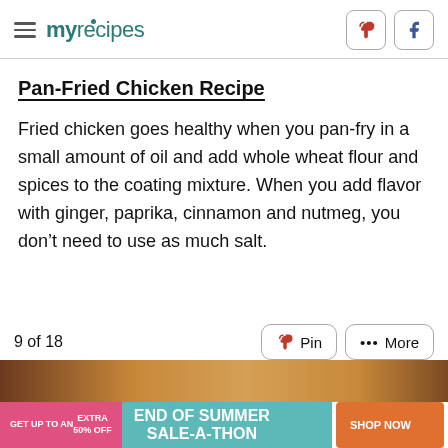myrecipes
Pan-Fried Chicken Recipe
Fried chicken goes healthy when you pan-fry in a small amount of oil and add whole wheat flour and spices to the coating mixture. When you add flavor with ginger, paprika, cinnamon and nutmeg, you don't need to use as much salt.
9 of 18